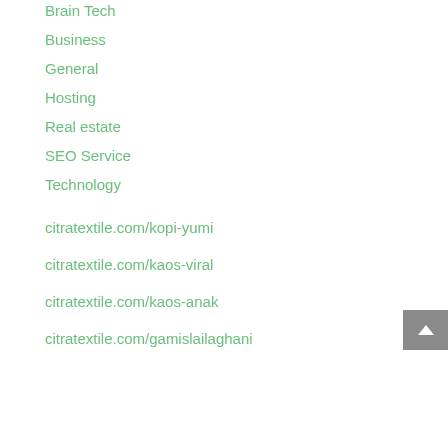Brain Tech
Business
General
Hosting
Real estate
SEO Service
Technology
citratextile.com/kopi-yumi
citratextile.com/kaos-viral
citratextile.com/kaos-anak
citratextile.com/gamislailaghani